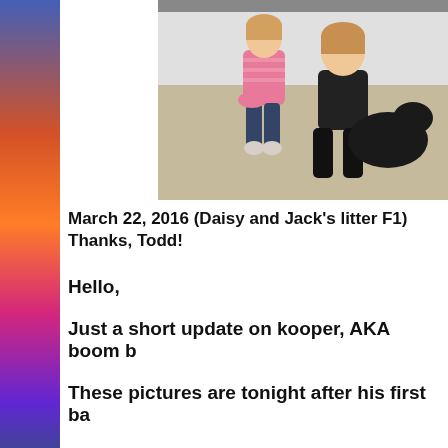[Figure (photo): Two children sitting on a carpeted floor; one small child in a pink striped shirt and jeans, another older child in black pants sitting beside them, possibly with a dog.]
March 22, 2016 (Daisy and Jack's litter F1)
Thanks, Todd!
Hello,
Just a short update on kooper, AKA boom b
These pictures are tonight after his first ba